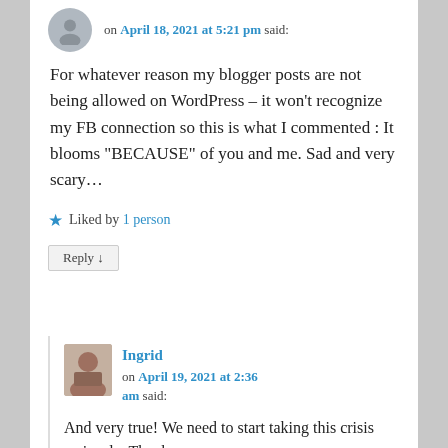on April 18, 2021 at 5:21 pm said:
For whatever reason my blogger posts are not being allowed on WordPress – it won't recognize my FB connection so this is what I commented : It blooms “BECAUSE” of you and me. Sad and very scary…
★ Liked by 1 person
Reply ↓
Ingrid on April 19, 2021 at 2:36 am said:
And very true! We need to start taking this crisis seriously. Thank you.